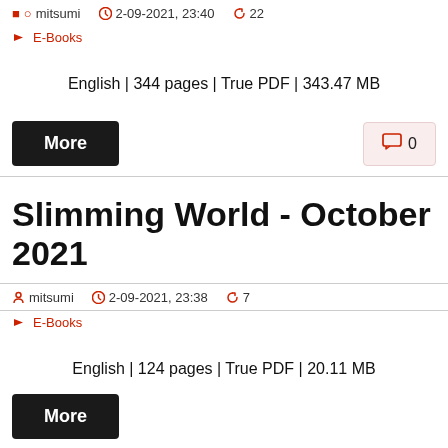mitsumi  2-09-2021, 23:40  22
→ E-Books
English | 344 pages | True PDF | 343.47 MB
More  0
Slimming World - October 2021
mitsumi  2-09-2021, 23:38  7
→ E-Books
English | 124 pages | True PDF | 20.11 MB
More